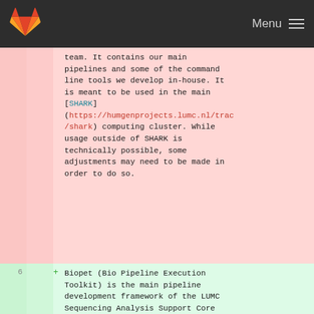GitLab — Menu
team. It contains our main pipelines and some of the command line tools we develop in-house. It is meant to be used in the main [SHARK](https://humgenprojects.lumc.nl/trac/shark) computing cluster. While usage outside of SHARK is technically possible, some adjustments may need to be made in order to do so.
6 + Biopet (Bio Pipeline Execution Toolkit) is the main pipeline development framework of the LUMC Sequencing Analysis Support Core team.
7 + It contains our main pipelines and some of the command line tools we develop in-house.
8 + It is meant to be used in the main